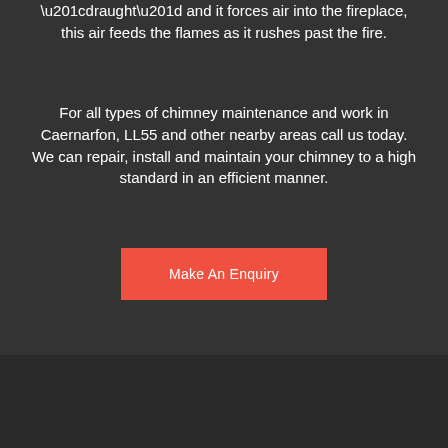“draught” and it forces air into the fireplace, this air feeds the flames as it rushes past the fire.
For all types of chimney maintenance and work in Caernarfon, LL55 and other nearby areas call us today. We can repair, install and maintain your chimney to a high standard in an efficient manner.
Make An Enquiry